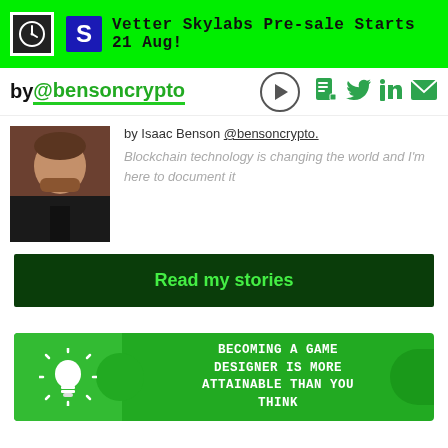Vetter Skylabs Pre-sale Starts 21 Aug!
by @bensoncrypto
[Figure (photo): Profile photo of Isaac Benson, a man in a black suit]
by Isaac Benson @bensoncrypto.
Blockchain technology is changing the world and I'm here to document it
Read my stories
[Figure (infographic): Green banner with lightbulb icon and text: BECOMING A GAME DESIGNER IS MORE ATTAINABLE THAN YOU THINK]